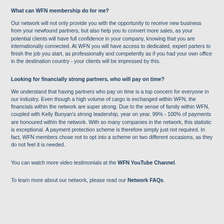What can WFN membership do for me?
Our network will not only provide you with the opportunity to receive new business from your newfound partners, but also help you to convert more sales, as your potential clients will have full confidence in your company, knowing that you are internationally connected. At WFN you will have access to dedicated, expert parters to finish the job you start, as professionally and competently as if you had your own office in the destination country - your clients will be impressed by this.
Looking for financially strong partners, who will pay on time?
We understand that having partners who pay on time is a top concern for everyone in our industry. Even though a high volume of cargo is exchanged within WFN, the financials within the network are super strong. Due to the sense of family within WFN, coupled with Kelly Bunyan's strong leadership, year on year, 99% - 100% of payments are honoured within the network. With so many companies in the network, this statistic is exceptional. A payment protection scheme is therefore simply just not required. In fact, WFN members chose not to opt into a scheme on two different occasions, as they do not feel it is needed.
You can watch more video testimonials at the WFN YouTube Channel.
To learn more about our network, please read our Network FAQs.